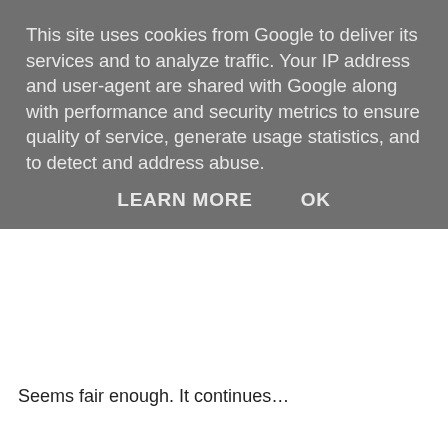This site uses cookies from Google to deliver its services and to analyze traffic. Your IP address and user-agent are shared with Google along with performance and security metrics to ensure quality of service, generate usage statistics, and to detect and address abuse.
LEARN MORE    OK
Seems fair enough. It continues…
It will also be necessary to ensure that the fabric of the building significantly exceeds the standards currently required by Part L of the Building Regulations 2000 (as amended). The requirement will be that the “Heat Loss Parameter” (covering the walls, windows, air tightness and other elements of the building design) is no more than 0.8W/m2K. This standard will mean that space heating requirements are no more than 15kWh/m2 per annum.
“Heat Loss Parameter” is a phrase I wasn’t familiar with but